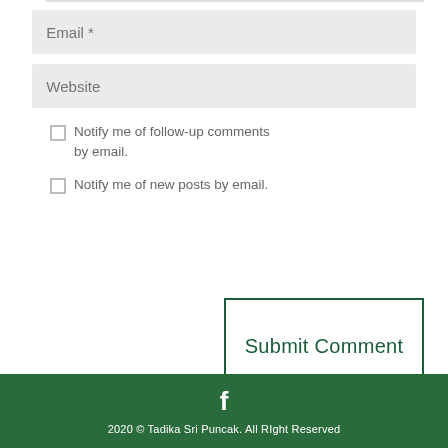Email *
Website
Notify me of follow-up comments by email.
Submit Comment
Notify me of new posts by email.
2020 © Tadika Sri Puncak. All RIght Reserved